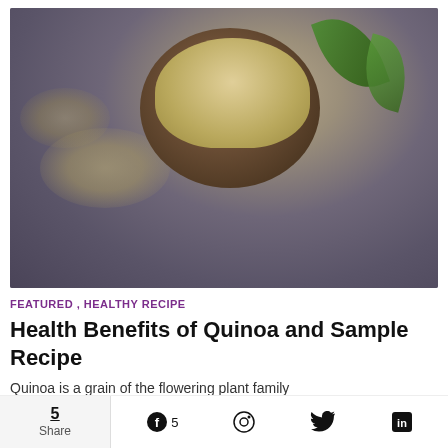[Figure (photo): Overhead shot of quinoa in a rustic clay bowl on a dark gray surface, with green basil leaves to the right and quinoa grains scattered on the surface]
FEATURED , HEALTHY RECIPE
Health Benefits of Quinoa and Sample Recipe
Quinoa is a grain of the flowering plant family
5 Share  5   (social icons: Facebook, Pinterest, Twitter, LinkedIn)